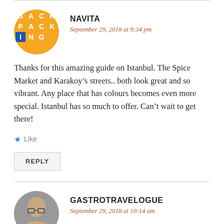[Figure (logo): Circular backpacking logo with orange background and white text reading BACKPACKING]
NAVITA
September 29, 2018 at 9:34 pm
Thanks for this amazing guide on Istanbul. The Spice Market and Karakoy’s streets.. both look great and so vibrant. Any place that has colours becomes even more special. Istanbul has so much to offer. Can’t wait to get there!
★ Like
REPLY
[Figure (photo): Circular avatar photo of a person]
GASTROTRAVELOGUE
September 29, 2018 at 10:14 am